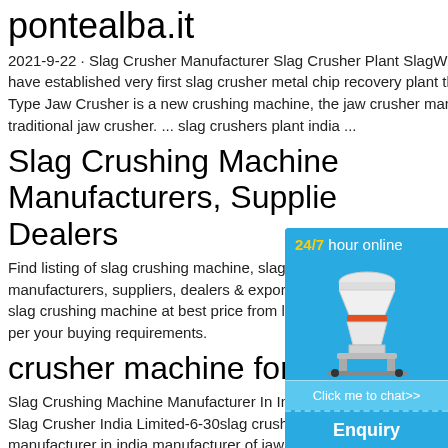pontealba.it
2021-9-22 · Slag Crusher Manufacturer Slag Crusher Plant SlagWith our sound expertise, we have established very first slag crusher metal chip recovery plant that recovers m ... European Type Jaw Crusher is a new crushing machine, the jaw crusher manufacturer, after the release of traditional jaw crusher. ... slag crushers plant india ...
Slag Crushing Machine Manufacturers, Suppliers & Dealers
Find listing of slag crushing machine, slag crushing machine manufacturers, suppliers, dealers & exporters. Get slag crushing machine at best price from listed companies as per your buying requirements.
crusher machine for slag
Slag Crushing Machine Manufacturer In India Slag Crusher India Limited-6-30slag crushing manufacturer in india manufacturer of jaw c...
[Figure (other): Chat widget showing a cone crusher machine with '24/7 hour online' header in yellow and white text on blue background, a 'Click me to chat>>' button, an 'Enquiry' button and 'limingjlmofen' username text, all on a cyan/blue background.]